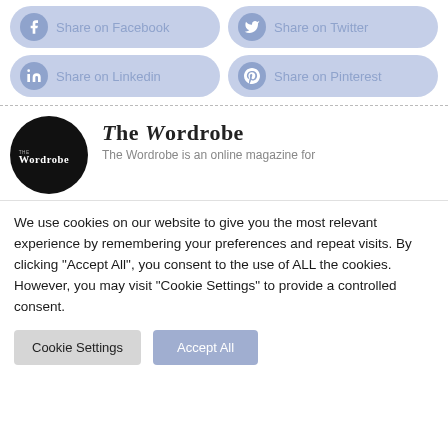[Figure (other): Share on Facebook button with Facebook icon]
[Figure (other): Share on Twitter button with Twitter icon]
[Figure (other): Share on Linkedin button with LinkedIn icon]
[Figure (other): Share on Pinterest button with Pinterest icon]
[Figure (logo): The Wordrobe logo — black circle with white text 'THE WORDROBE']
The Wordrobe
The Wordrobe is an online magazine for
We use cookies on our website to give you the most relevant experience by remembering your preferences and repeat visits. By clicking "Accept All", you consent to the use of ALL the cookies. However, you may visit "Cookie Settings" to provide a controlled consent.
Cookie Settings
Accept All